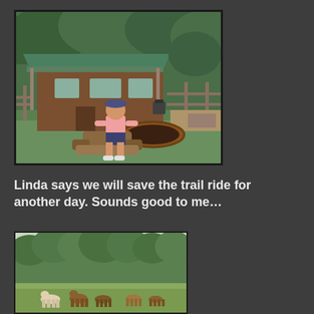[Figure (photo): A woman sitting on a log bench in a yard, with a wooden cabin with green metal roof in the background, surrounded by trees, green grass, and a round fire pit]
Linda says we will save the trail ride for another day. Sounds good to me…
[Figure (photo): A pastoral field scene with horses and livestock grazing on green grass in front of a dense forest of green trees]